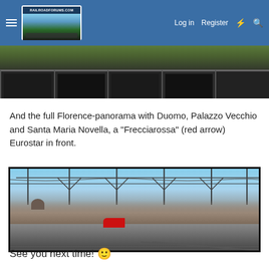RailroadForums.com — Log in | Register
[Figure (photo): Top portion of a railroad photo showing coal hopper cars from above, dark background with green vegetation visible]
And the full Florence-panorama with Duomo, Palazzo Vecchio and Santa Maria Novella, a "Frecciarossa" (red arrow) Eurostar in front.
[Figure (photo): Panoramic photo of Florence Santa Maria Novella railway station with overhead catenary wires, a red Frecciarossa high-speed train visible, and Florence city skyline with domes in the background under a blue sky]
See you next time! 🙂